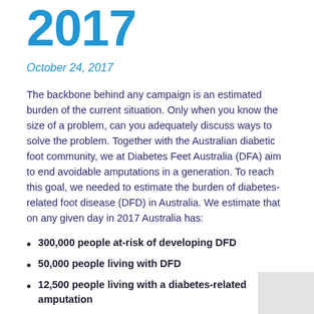2017
October 24, 2017
The backbone behind any campaign is an estimated burden of the current situation. Only when you know the size of a problem, can you adequately discuss ways to solve the problem. Together with the Australian diabetic foot community, we at Diabetes Feet Australia (DFA) aim to end avoidable amputations in a generation. To reach this goal, we needed to estimate the burden of diabetes-related foot disease (DFD) in Australia. We estimate that on any given day in 2017 Australia has:
300,000 people at-risk of developing DFD
50,000 people living with DFD
12,500 people living with a diabetes-related amputation